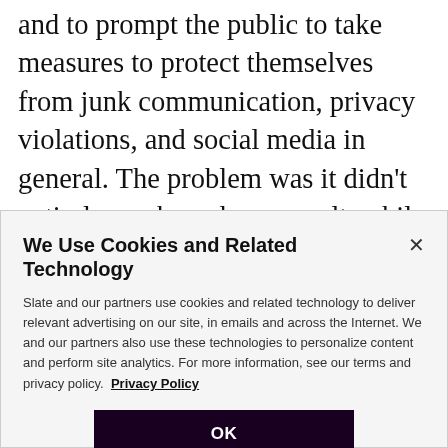and to prompt the public to take measures to protect themselves from junk communication, privacy violations, and social media in general. The problem was it didn't entirely work, and as a result, while Sophia's cohort takes measures to block bad information, in the world of Fall, not everyone else does or can afford to do so. Hence, a huge chunk of the population of Ameristan believes that Moab really was destroyed by an atom bomb and that the hoax story is just a government
We Use Cookies and Related Technology
Slate and our partners use cookies and related technology to deliver relevant advertising on our site, in emails and across the Internet. We and our partners also use these technologies to personalize content and perform site analytics. For more information, see our terms and privacy policy. Privacy Policy
OK